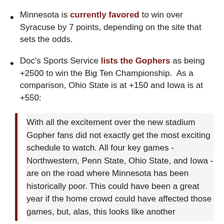Minnesota is currently favored to win over Syracuse by 7 points, depending on the site that sets the odds.
Doc's Sports Service lists the Gophers as being +2500 to win the Big Ten Championship.  As a comparison, Ohio State is at +150 and Iowa is at +550:
With all the excitement over the new stadium Gopher fans did not exactly get the most exciting schedule to watch. All four key games - Northwestern, Penn State, Ohio State, and Iowa - are on the road where Minnesota has been historically poor. This could have been a great year if the home crowd could have affected those games, but, alas, this looks like another